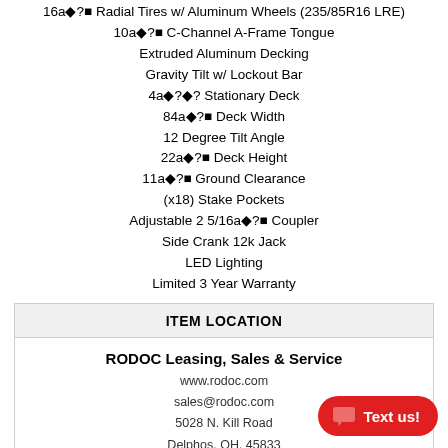16a◆?■ Radial Tires w/ Aluminum Wheels (235/85R16 LRE)
10a◆?■ C-Channel A-Frame Tongue
Extruded Aluminum Decking
Gravity Tilt w/ Lockout Bar
4a◆?◆? Stationary Deck
84a◆?■ Deck Width
12 Degree Tilt Angle
22a◆?■ Deck Height
11a◆?■ Ground Clearance
(x18) Stake Pockets
Adjustable 2 5/16a◆?■ Coupler
Side Crank 12k Jack
LED Lighting
Limited 3 Year Warranty
| ITEM LOCATION |
| --- |
| RODOC Leasing, Sales & Service | www.rodoc.com | sales@rodoc.com | 5028 N. Kill Road | Delphos, OH, 45833 | (419) 692-5881 |
STOCK NO: 66792